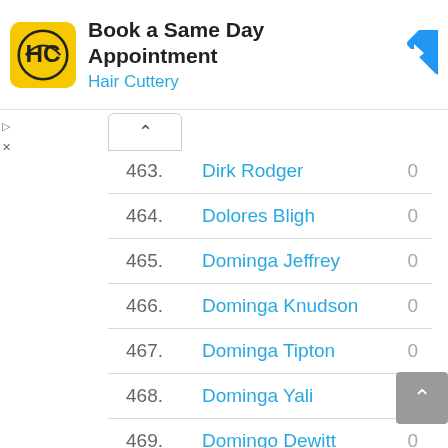[Figure (screenshot): Hair Cuttery advertisement banner with logo, title 'Book a Same Day Appointment', subtitle 'Hair Cuttery', and a blue navigation arrow icon on the right.]
| # | Name | Score |
| --- | --- | --- |
| 463. | Dirk Rodger | 0 |
| 464. | Dolores Bligh | 0 |
| 465. | Dominga Jeffrey | 0 |
| 466. | Dominga Knudson | 0 |
| 467. | Dominga Tipton | 0 |
| 468. | Dominga Yali | 0 |
| 469. | Domingo Dewitt | 0 |
| 470. | Dominic Synan | 0 |